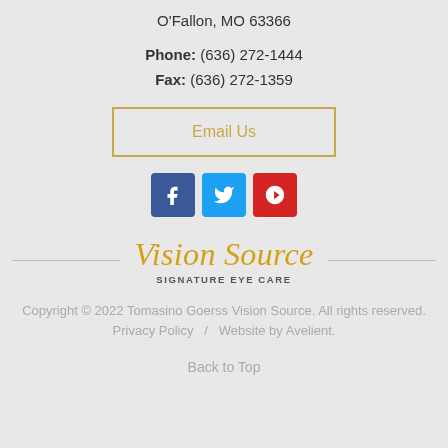O'Fallon, MO 63366
Phone: (636) 272-1444
Fax: (636) 272-1359
Email Us
[Figure (other): Social media icons: Facebook, Twitter, Yelp]
[Figure (logo): Vision Source Signature Eye Care logo with gold script text and horizontal divider lines]
Copyright © 2022 Tomasino Goerss Vision Source. All rights reserved.
Privacy Policy   /   Website by Avelient.
Back to Top